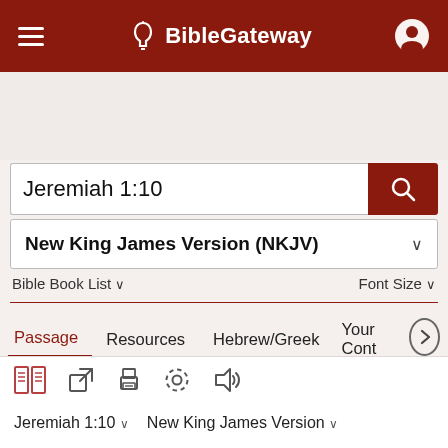BibleGateway
Jeremiah 1:10
New King James Version (NKJV)
Bible Book List ∨   Font Size ∨
Passage   Resources   Hebrew/Greek   Your Cont ›
Jeremiah 1:10 ∨   New King James Version ∨